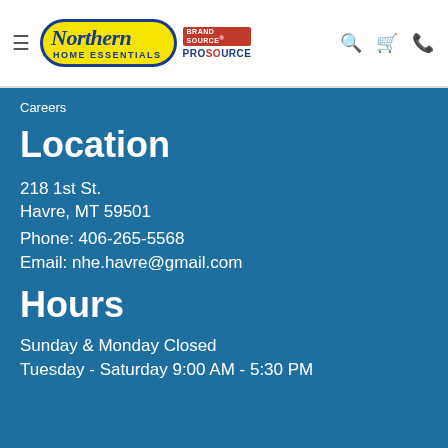[Figure (logo): Northern Home Essentials logo with Brand Source and ProSource marks]
Careers
Location
218 1st St.
Havre, MT 59501
Phone: 406-265-5568
Email: nhe.havre@gmail.com
Hours
Sunday & Monday Closed
Tuesday - Saturday 9:00 AM - 5:30 PM